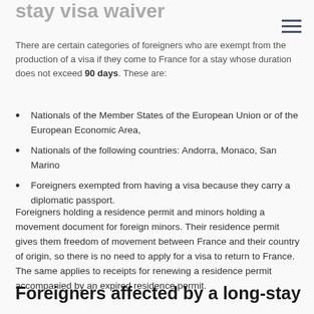stay visa waiver
There are certain categories of foreigners who are exempt from the production of a visa if they come to France for a stay whose duration does not exceed 90 days. These are:
Nationals of the Member States of the European Union or of the European Economic Area,
Nationals of the following countries: Andorra, Monaco, San Marino
Foreigners exempted from having a visa because they carry a diplomatic passport.
Foreigners holding a residence permit and minors holding a movement document for foreign minors. Their residence permit gives them freedom of movement between France and their country of origin, so there is no need to apply for a visa to return to France. The same applies to receipts for renewing a residence permit accompanied by an expired residence permit.
Foreigners affected by a long-stay